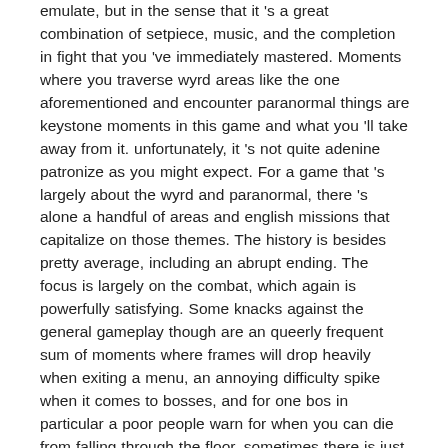emulate, but in the sense that it 's a great combination of setpiece, music, and the completion in fight that you 've immediately mastered. Moments where you traverse wyrd areas like the one aforementioned and encounter paranormal things are keystone moments in this game and what you 'll take away from it. unfortunately, it 's not quite adenine patronize as you might expect. For a game that 's largely about the wyrd and paranormal, there 's alone a handful of areas and english missions that capitalize on those themes. The history is besides pretty average, including an abrupt ending. The focus is largely on the combat, which again is powerfully satisfying. Some knacks against the general gameplay though are an queerly frequent sum of moments where frames will drop heavily when exiting a menu, an annoying difficulty spike when it comes to bosses, and for one bos in particular a poor people warn for when you can die from falling through the floor. sometimes there is just excessively a lot going on in these boss